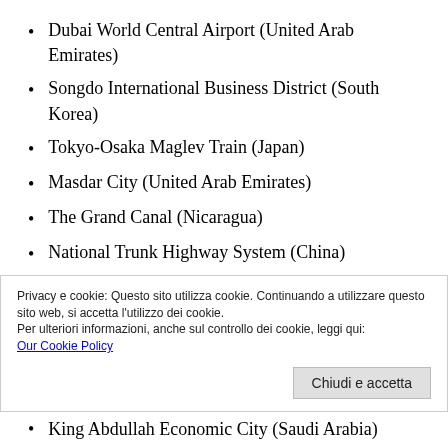Dubai World Central Airport (United Arab Emirates)
Songdo International Business District (South Korea)
Tokyo-Osaka Maglev Train (Japan)
Masdar City (United Arab Emirates)
The Grand Canal (Nicaragua)
National Trunk Highway System (China)
International Thermonuclear Experimental
Privacy e cookie: Questo sito utilizza cookie. Continuando a utilizzare questo sito web, si accetta l'utilizzo dei cookie.
Per ulteriori informazioni, anche sul controllo dei cookie, leggi qui:
Our Cookie Policy
King Abdullah Economic City (Saudi Arabia)